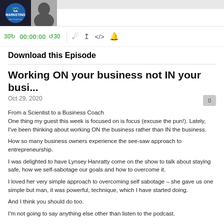[Figure (screenshot): Podcast player UI showing logo for 'Let's Talk Marketing', a seek-back 30s button, timestamp 00:00:00, seek-forward 30s button, and playback control icons (RSS, download, code, settings)]
Download this Episode
Working ON your business not IN your busi...
Oct 29, 2020
From a Scientist to a Business Coach
One thing my guest this week is focused on is focus (excuse the pun!). Lately, I've been thinking about working ON the business rather than IN the business.
How so many business owners experience the see-saw approach to entrepreneurship.
I was delighted to have Lynsey Hanratty come on the show to talk about staying safe, how we self-sabotage our goals and how to overcome it.
I loved her very simple approach to overcoming self sabotage – she gave us one simple but man, it was powerful, technique, which I have started doing.
And I think you should do too.
I'm not going to say anything else other than listen to the podcast.